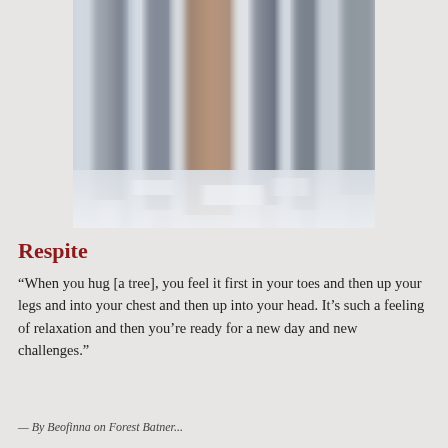[Figure (photo): Abstract motion-blur photograph of snow-covered trees in a winter forest. Vertical streaks of grey, white, and warm brown tones suggest tree trunks with intentional camera movement, creating a ghostly, painterly effect. Snow covers the ground at the base.]
Respite
“When you hug [a tree], you feel it first in your toes and then up your legs and into your chest and then up into your head. It’s such a feeling of relaxation and then you’re ready for a new day and new challenges.”
— By Beofinna on Forest Batner...